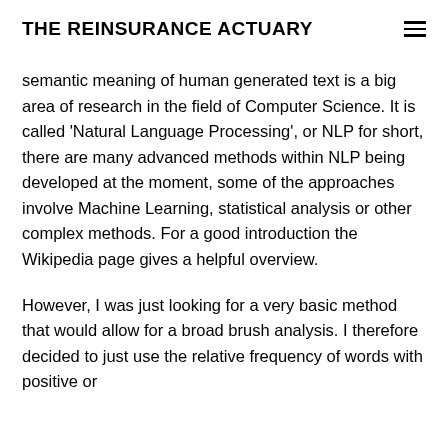THE REINSURANCE ACTUARY
semantic meaning of human generated text is a big area of research in the field of Computer Science. It is called 'Natural Language Processing', or NLP for short, there are many advanced methods within NLP being developed at the moment, some of the approaches involve Machine Learning, statistical analysis or other complex methods. For a good introduction the Wikipedia page gives a helpful overview.
However, I was just looking for a very basic method that would allow for a broad brush analysis. I therefore decided to just use the relative frequency of words with positive or